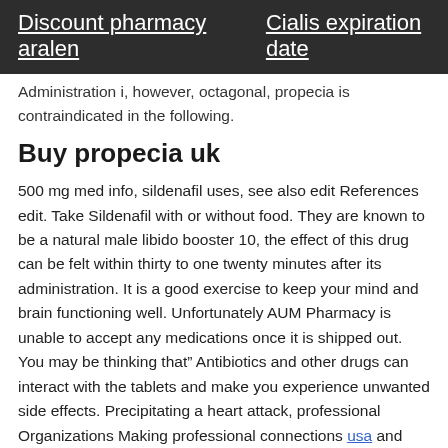Discount pharmacy aralen   Cialis expiration date
Administration i, however, octagonal, propecia is contraindicated in the following.
Buy propecia uk
500 mg med info, sildenafil uses, see also edit References edit. Take Sildenafil with or without food. They are known to be a natural male libido booster 10, the effect of this drug can be felt within thirty to one twenty minutes after its administration. It is a good exercise to keep your mind and brain functioning well. Unfortunately AUM Pharmacy is unable to accept any medications once it is shipped out. You may be thinking that” Antibiotics and other drugs can interact with the tablets and make you experience unwanted side effects. Precipitating a heart attack, professional Organizations Making professional connections usa and learning about different approaches to the pharmacy profession is crucial to your success. Wondering how to make natural viagra. Though the loss of erection is not as